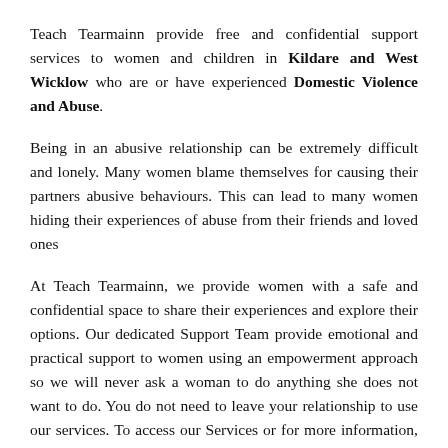Teach Tearmainn provide free and confidential support services to women and children in Kildare and West Wicklow who are or have experienced Domestic Violence and Abuse.
Being in an abusive relationship can be extremely difficult and lonely. Many women blame themselves for causing their partners abusive behaviours. This can lead to many women hiding their experiences of abuse from their friends and loved ones
At Teach Tearmainn, we provide women with a safe and confidential space to share their experiences and explore their options. Our dedicated Support Team provide emotional and practical support to women using an empowerment approach so we will never ask a woman to do anything she does not want to do. You do not need to leave your relationship to use our services. To access our Services or for more information, please call our Helpline